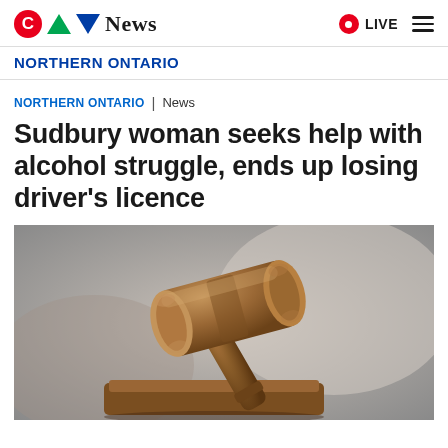CTV NEWS | LIVE
NORTHERN ONTARIO
NORTHERN ONTARIO | News
Sudbury woman seeks help with alcohol struggle, ends up losing driver's licence
[Figure (photo): Close-up photograph of a wooden judge's gavel resting on a sound block, with a blurred background.]